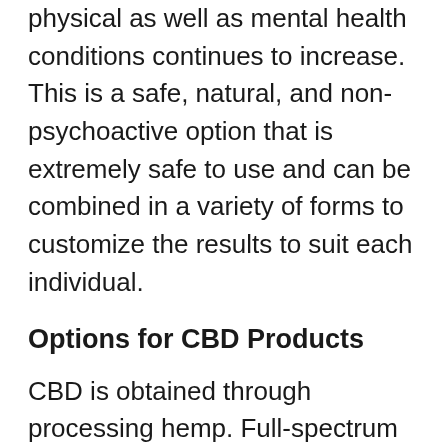physical as well as mental health conditions continues to increase. This is a safe, natural, and non-psychoactive option that is extremely safe to use and can be combined in a variety of forms to customize the results to suit each individual.
Options for CBD Products
CBD is obtained through processing hemp. Full-spectrum CBD contains all the natural compounds in the hemp plant. This is optimal in the treatment of many conditions as it provides a variety of compounds that are utilized by the body in relaxation, mental